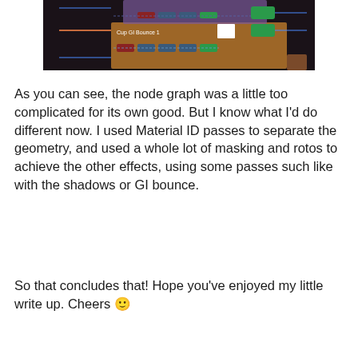[Figure (screenshot): A node graph screenshot showing compositing nodes including 'Cup GI Bounce 1' on a dark background with various colored nodes connected by lines.]
As you can see, the node graph was a little too complicated for its own good. But I know what I'd do different now. I used Material ID passes to separate the geometry, and used a whole lot of masking and rotos to achieve the other effects, using some passes such like with the shadows or GI bounce.
So that concludes that! Hope you've enjoyed my little write up. Cheers 🙂